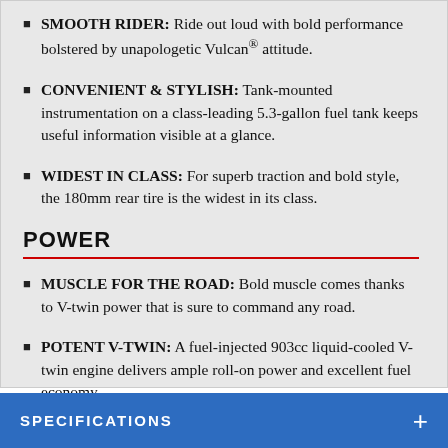SMOOTH RIDER: Ride out loud with bold performance bolstered by unapologetic Vulcan® attitude.
CONVENIENT & STYLISH: Tank-mounted instrumentation on a class-leading 5.3-gallon fuel tank keeps useful information visible at a glance.
WIDEST IN CLASS: For superb traction and bold style, the 180mm rear tire is the widest in its class.
POWER
MUSCLE FOR THE ROAD: Bold muscle comes thanks to V-twin power that is sure to command any road.
POTENT V-TWIN: A fuel-injected 903cc liquid-cooled V-twin engine delivers ample roll-on power and excellent fuel economy.
SPECIFICATIONS